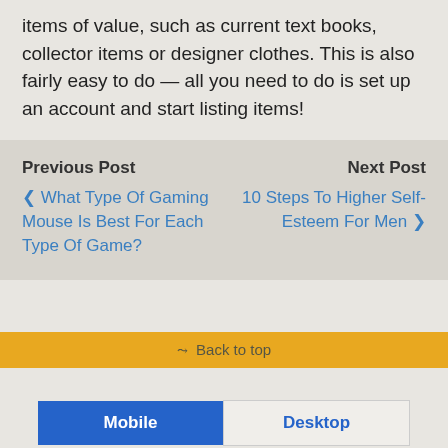items of value, such as current text books, collector items or designer clothes. This is also fairly easy to do — all you need to do is set up an account and start listing items!
Previous Post
‹ What Type Of Gaming Mouse Is Best For Each Type Of Game?
Next Post
10 Steps To Higher Self-Esteem For Men ›
⇧ Back to top
Mobile   Desktop